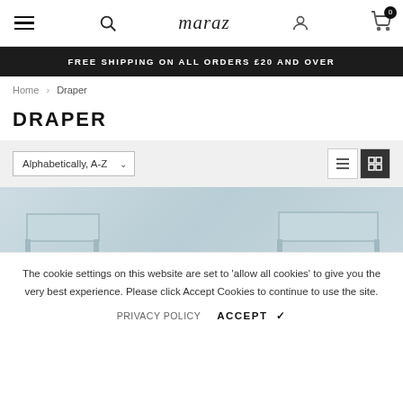maraz — navigation bar with menu, search, user account, and cart (0 items)
FREE SHIPPING ON ALL ORDERS £20 AND OVER
Home > Draper
DRAPER
Alphabetically, A-Z (sort dropdown) | list view and grid view icons
[Figure (screenshot): Partial product listing area with light blue-grey background, possibly showing furniture items]
The cookie settings on this website are set to 'allow all cookies' to give you the very best experience. Please click Accept Cookies to continue to use the site.
PRIVACY POLICY   ACCEPT ✔